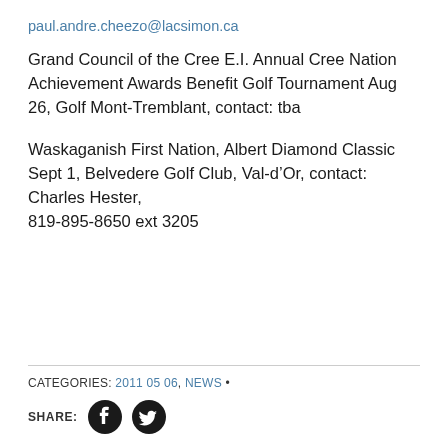paul.andre.cheezo@lacsimon.ca
Grand Council of the Cree E.I. Annual Cree Nation Achievement Awards Benefit Golf Tournament Aug 26, Golf Mont-Tremblant, contact: tba
Waskaganish First Nation, Albert Diamond Classic Sept 1, Belvedere Golf Club, Val-d’Or, contact: Charles Hester, 819-895-8650 ext 3205
CATEGORIES: 2011 05 06, NEWS • SHARE: